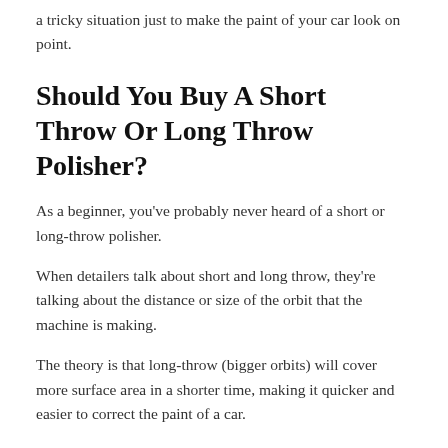a tricky situation just to make the paint of your car look on point.
Should You Buy A Short Throw Or Long Throw Polisher?
As a beginner, you've probably never heard of a short or long-throw polisher.
When detailers talk about short and long throw, they're talking about the distance or size of the orbit that the machine is making.
The theory is that long-throw (bigger orbits) will cover more surface area in a shorter time, making it quicker and easier to correct the paint of a car.